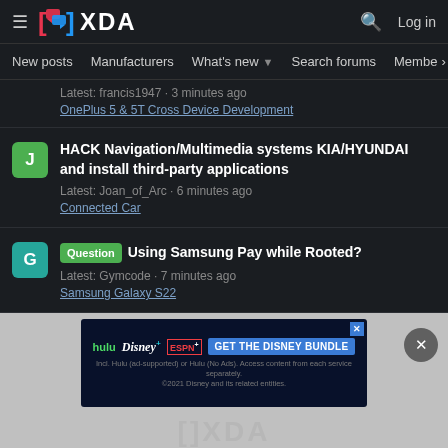XDA Forums header with logo, search, and login
New posts | Manufacturers | What's new | Search forums | Members >
Latest: francis1947 · 3 minutes ago
OnePlus 5 & 5T Cross Device Development
HACK Navigation/Multimedia systems KIA/HYUNDAI and install third-party applications
Latest: Joan_of_Arc · 6 minutes ago
Connected Car
Question Using Samsung Pay while Rooted?
Latest: Gymcode · 7 minutes ago
Samsung Galaxy S22
[Figure (screenshot): Disney Bundle advertisement banner: Hulu, Disney+, ESPN+ logos with GET THE DISNEY BUNDLE CTA button]
[Figure (logo): XDA logo partially visible at bottom in gray]